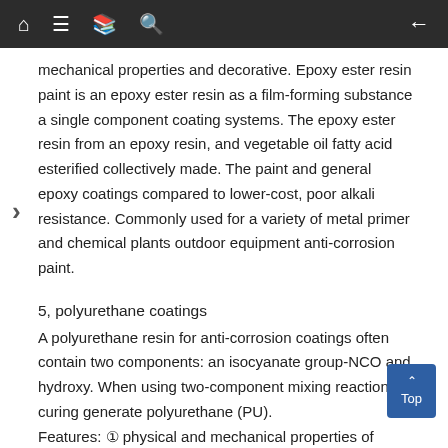Navigation bar with home, menu, book, search icons and back arrow
mechanical properties and decorative. Epoxy ester resin paint is an epoxy ester resin as a film-forming substance a single component coating systems. The epoxy ester resin from an epoxy resin, and vegetable oil fatty acid esterified collectively made. The paint and general epoxy coatings compared to lower-cost, poor alkali resistance. Commonly used for a variety of metal primer and chemical plants outdoor equipment anti-corrosion paint.
5, polyurethane coatings
A polyurethane resin for anti-corrosion coatings often contain two components: an isocyanate group-NCO and hydroxy. When using two-component mixing reaction curing generate polyurethane (PU).
Features: ① physical and mechanical properties of polyurethane coatings. Film hard, flexible, bright, plump, wear resistant, strong adhesion. ② corrosion resistance is excellent. Oil, acids, chemicals and industrial emissions. The alkali resistance is slightly lower than the epoxy coatings. ③ aging